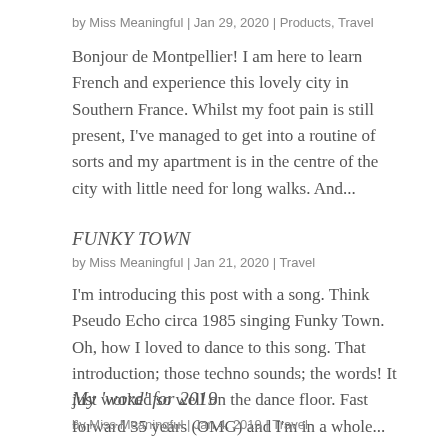by Miss Meaningful | Jan 29, 2020 | Products, Travel
Bonjour de Montpellier! I am here to learn French and experience this lovely city in Southern France. Whilst my foot pain is still present, I've managed to get into a routine of sorts and my apartment is in the centre of the city with little need for long walks. And...
FUNKY TOWN
by Miss Meaningful | Jan 21, 2020 | Travel
I'm introducing this post with a song. Think Pseudo Echo circa 1985 singing Funky Town. Oh, how I loved to dance to this song. That introduction; those techno sounds; the words! It just worked so well on the dance floor. Fast forward 35 years (OMG) and I'm in a whole...
My 'word' for 2019
by Miss Meaningful | Jan 4, 2019 | Travel